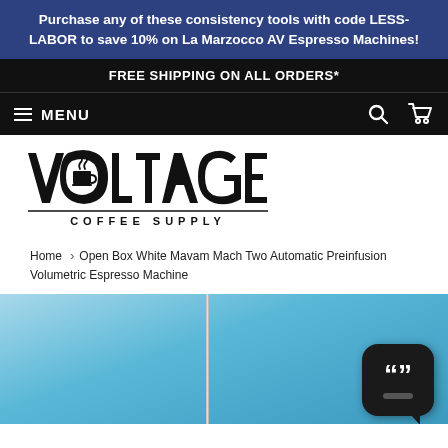Purchase any of these consistency tools with code LESS-LABOR to save 10% on La Marzocco AV Espresso Machines!
FREE SHIPPING ON ALL ORDERS*
MENU
[Figure (logo): Voltage Coffee Supply logo — large stylized text 'VOLTAGE' with a coffee cup icon in the O, and 'COFFEE SUPPLY' below with underline]
Home › Open Box White Mavam Mach Two Automatic Preinfusion Volumetric Espresso Machine
[Figure (photo): Product photo showing a white espresso machine (Mavam Mach Two) against a blue background, with a chat support widget in the bottom right corner]